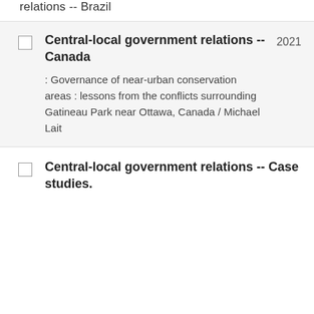relations -- Brazil
Central-local government relations -- Canada : Governance of near-urban conservation areas : lessons from the conflicts surrounding Gatineau Park near Ottawa, Canada / Michael Lait
2021
Central-local government relations -- Case studies.